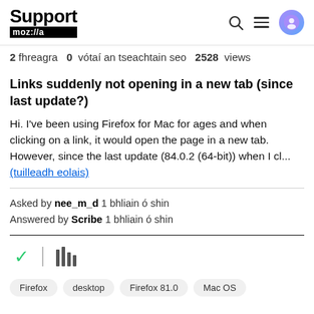Support moz://a
2 fhreagra  0  vótaí an tseachtain seo  2528  views
Links suddenly not opening in a new tab (since last update?)
Hi. I've been using Firefox for Mac for ages and when clicking on a link, it would open the page in a new tab. However, since the last update (84.0.2 (64-bit)) when I cl... (tuilleadh eolais)
Asked by nee_m_d 1 bhliain ó shin
Answered by Scribe 1 bhliain ó shin
Firefox
desktop
Firefox 81.0
Mac OS